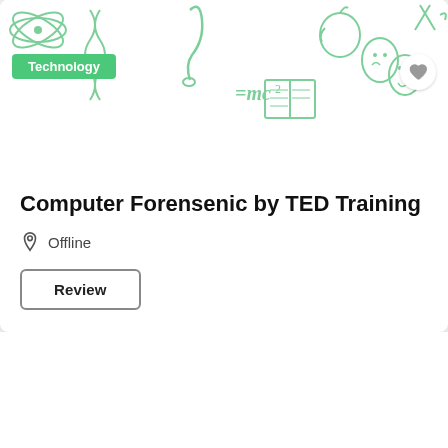[Figure (illustration): Banner with green line-art icons: atom, music note, apple, theater masks, books, DNA, etc. on white background]
Technology
Computer Forensenic by TED Training
Offline
Review
About Us
About Us